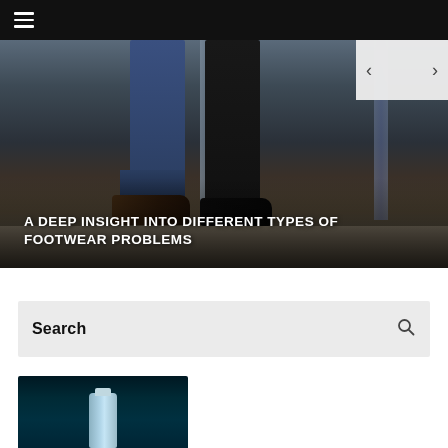≡
[Figure (photo): Hero image showing feet/legs of a person wearing jeans and dark dress shoes standing on a wooden floor, with navigation arrows (< >) overlaid at top right]
A DEEP INSIGHT INTO DIFFERENT TYPES OF FOOTWEAR PROBLEMS
Search
[Figure (photo): Partial view of a product (appears to be a bottle/container) against a dark teal background]